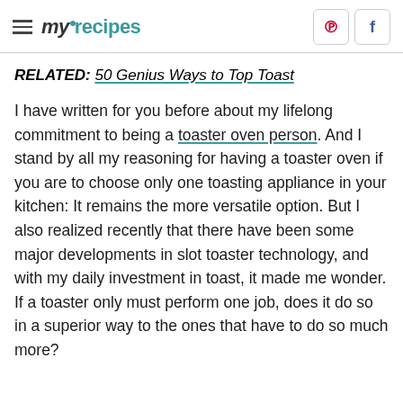myrecipes
RELATED: 50 Genius Ways to Top Toast
I have written for you before about my lifelong commitment to being a toaster oven person. And I stand by all my reasoning for having a toaster oven if you are to choose only one toasting appliance in your kitchen: It remains the more versatile option. But I also realized recently that there have been some major developments in slot toaster technology, and with my daily investment in toast, it made me wonder. If a toaster only must perform one job, does it do so in a superior way to the ones that have to do so much more?